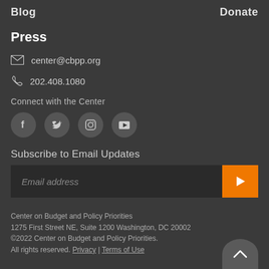Blog    Donate
Press
center@cbpp.org
202.408.1080
Connect with the Center
[Figure (other): Social media icons: Facebook, Twitter, Instagram, YouTube]
Subscribe to Email Updates
Email address
Center on Budget and Policy Priorities
1275 First Street NE, Suite 1200 Washington, DC 20002
©2022 Center on Budget and Policy Priorities.
All rights reserved. Privacy | Terms of Use